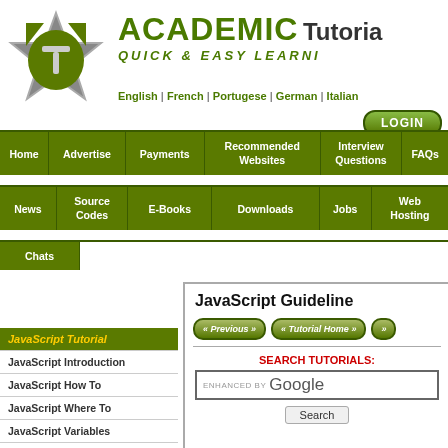[Figure (logo): Academic Tutorials logo with green star/shield icon]
ACADEMIC Tutorials QUICK & EASY LEARNING
English | French | Portugese | German | Italian
LOGIN
| Home | Advertise | Payments | Recommended Websites | Interview Questions | FAQs |
| --- | --- | --- | --- | --- | --- |
| News | Source Codes | E-Books | Downloads | Jobs | Web Hosting |
| --- | --- | --- | --- | --- | --- |
| Chats |
| --- |
JavaScript Guideline
JavaScript Tutorial
JavaScript Introduction
JavaScript How To
JavaScript Where To
JavaScript Variables
« Previous »
« Tutorial Home »
SEARCH TUTORIALS:
ENHANCED BY Google
Search